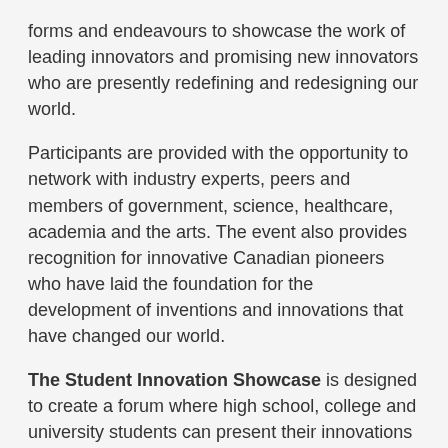forms and endeavours to showcase the work of leading innovators and promising new innovators who are presently redefining and redesigning our world.
Participants are provided with the opportunity to network with industry experts, peers and members of government, science, healthcare, academia and the arts. The event also provides recognition for innovative Canadian pioneers who have laid the foundation for the development of inventions and innovations that have changed our world.
The Student Innovation Showcase is designed to create a forum where high school, college and university students can present their innovations to prestigious industry experts for the opportunity to win prizes and network with leading members of business and industry.